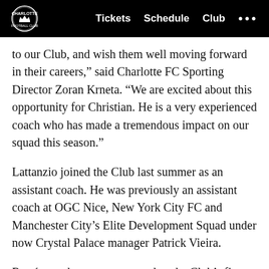Tickets  Schedule  Club  ...
to our Club, and wish them well moving forward in their careers,” said Charlotte FC Sporting Director Zoran Krneta. “We are excited about this opportunity for Christian. He is a very experienced coach who has made a tremendous impact on our squad this season.”
Lattanzio joined the Club last summer as an assistant coach. He was previously an assistant coach at OGC Nice, New York City FC and Manchester City’s Elite Development Squad under now Crystal Palace manager Patrick Vieira.
Ramírez, who was announced as the Club’s first head coach on July 7, 2021, went 5-8-1 in 14 league games